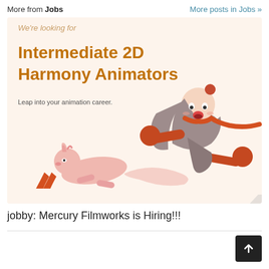More from Jobs   More posts in Jobs »
[Figure (illustration): A promotional illustration for Mercury Filmworks job posting. Warm beige/cream background. Text reads 'We're looking for Intermediate 2D Harmony Animators' in bold orange-brown. Subtext: 'Leap into your animation career.' Cartoon character of a girl with long grey hair in orange outfit leaping/flying to the right with an open mouth expression. Below her, a small pink cartoon fox-like creature also leaping. Bottom left has an orange stylized logo mark.]
jobby: Mercury Filmworks is Hiring!!!